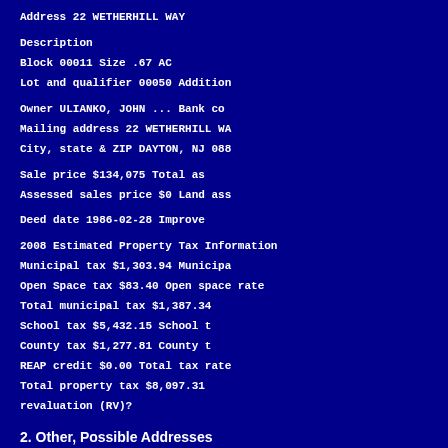Address    22 WETHERHILL WAY
Description
Block   00011   Size     .67 AC
Lot and qualifier        00050   Addition
Owner   ULIANKO, JOHN ...       Bank co
Mailing address          22 WETHERHILL WA
City, state & ZIP        DAYTON, NJ  088
Sale price      $134,075          Total as
Assessed sales price   $0        Land ass
Deed date        1986-02-28       Improve
2008 Estimated Property Tax Information
Municipal tax   $1,303.94        Municipa
Open Space tax  $83.40  Open space rate
Total municipal tax      $1,387.34
School tax       $5,432.15        School t
County tax       $1,277.81        County t
REAP credit      $0.00   Total tax rate
Total property tax       $8,097.31
revaluation (RV)?
2. Other, Possible Addresses
JOHN ULIANKO, 3731 CRESCENT ST
(a outhbound street near 24th Street